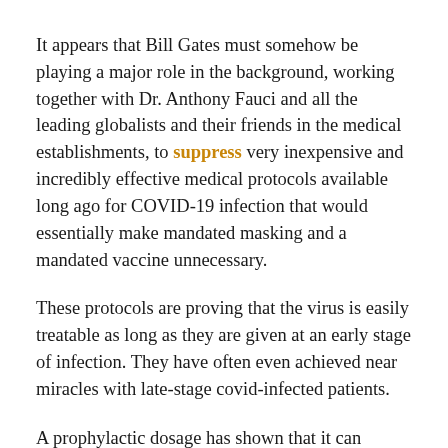It appears that Bill Gates must somehow be playing a major role in the background, working together with Dr. Anthony Fauci and all the leading globalists and their friends in the medical establishments, to suppress very inexpensive and incredibly effective medical protocols available long ago for COVID-19 infection that would essentially make mandated masking and a mandated vaccine unnecessary.
These protocols are proving that the virus is easily treatable as long as they are given at an early stage of infection. They have often even achieved near miracles with late-stage covid-infected patients.
A prophylactic dosage has shown that it can effectively protect essential service workers such as those in food processing plants, health care workers, and persons with